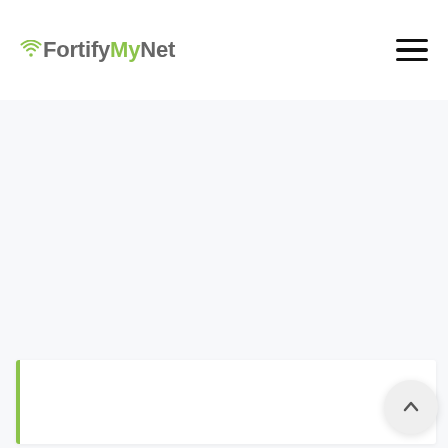FortifyMyNet
[Figure (screenshot): Mostly blank content area with light gray background, part of a web page body below the header]
[Figure (other): White card/content block with green left border at bottom of page]
[Figure (other): Scroll-to-top circular button with upward chevron arrow in bottom right corner]